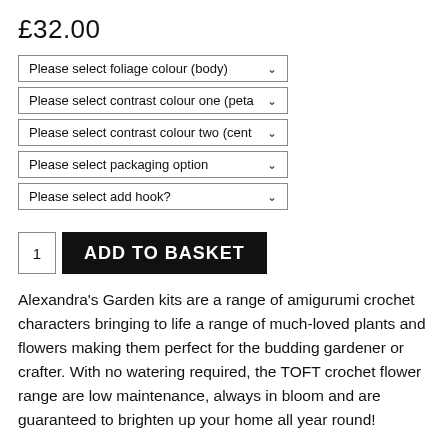£32.00
Please select foliage colour (body)
Please select contrast colour one (peta
Please select contrast colour two (cent
Please select packaging option
Please select add hook?
1  ADD TO BASKET
Alexandra's Garden kits are a range of amigurumi crochet characters bringing to life a range of much-loved plants and flowers making them perfect for the budding gardener or crafter. With no watering required, the TOFT crochet flower range are low maintenance, always in bloom and are guaranteed to brighten up your home all year round!